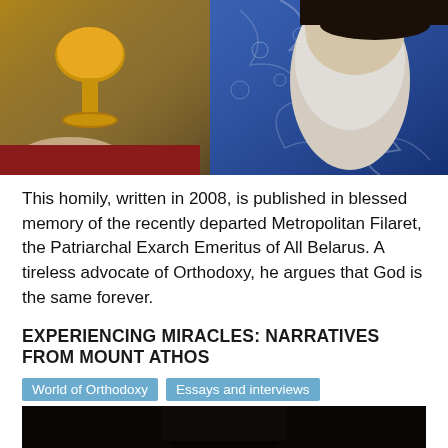[Figure (photo): Orthodox religious ceremony photo: a golden chalice held by hands on the left, and an elderly Orthodox metropolitan/bishop wearing an ornate blue vestment with white decorative embroidery on the right, with a long white beard visible]
This homily, written in 2008, is published in blessed memory of the recently departed Metropolitan Filaret, the Patriarchal Exarch Emeritus of All Belarus. A tireless advocate of Orthodoxy, he argues that God is the same forever.
EXPERIENCING MIRACLES: NARRATIVES FROM MOUNT ATHOS
World of Orthodoxy   Essays and interviews
[Figure (photo): Black and white close-up portrait of an Orthodox monk or elder with a black kamilavka (hat), dark beard, and serious expression, looking slightly downward]